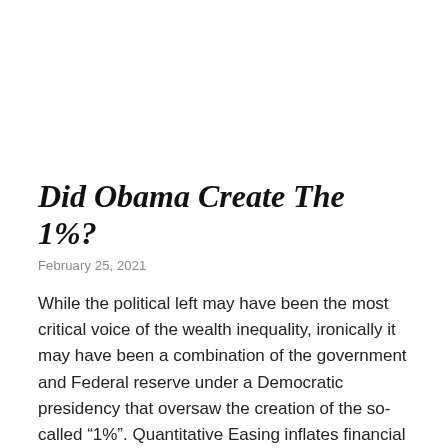Did Obama Create The 1%?
February 25, 2021
While the political left may have been the most critical voice of the wealth inequality, ironically it may have been a combination of the government and Federal reserve under a Democratic presidency that oversaw the creation of the so-called “1%”. Quantitative Easing inflates financial asset prices while causing stagnation and growing debt levels in the …Read More